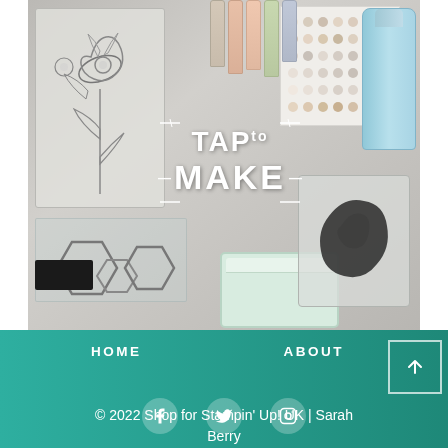[Figure (photo): Overhead view of crafting supplies on a grey surface: rubber stamps (flower, hexagon shapes, dark blob stamp), pastel colored markers, a sheet of dot stickers, a clear acrylic block, a green ink pad, a blue cleaner bottle, with white handwritten-style text overlay reading 'TAP to MAKE' with sunburst decorative lines]
HOME   ABOUT   © 2022 Shop for Stampin' Up! UK | Sarah Berry